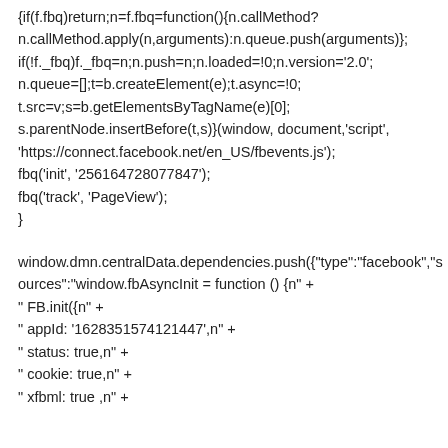{if(f.fbq)return;n=f.fbq=function(){n.callMethod?
n.callMethod.apply(n,arguments):n.queue.push(arguments)};
if(!f._fbq)f._fbq=n;n.push=n;n.loaded=!0;n.version='2.0';
n.queue=[];t=b.createElement(e);t.async=!0;
t.src=v;s=b.getElementsByTagName(e)[0];
s.parentNode.insertBefore(t,s)}(window, document,'script',
'https://connect.facebook.net/en_US/fbevents.js');
fbq('init', '256164728077847');
fbq('track', 'PageView');
}
window.dmn.centralData.dependencies.push({"type":"facebook","s
ources":"window.fbAsyncInit = function () {n" +
" FB.init({n" +
" appId: '1628351574121447',n" +
" status: true,n" +
" cookie: true,n" +
" xfbml: true ,n" +